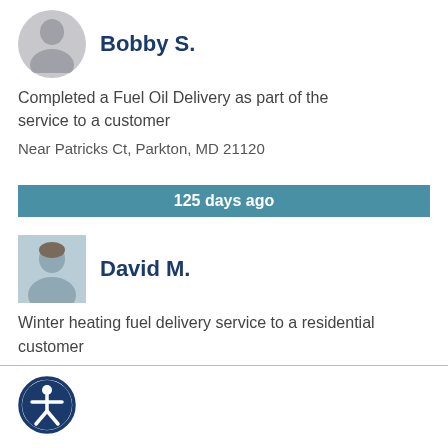Bobby S.
Completed a Fuel Oil Delivery as part of the service to a customer
Near Patricks Ct, Parkton, MD 21120
125 days ago
David M.
Winter heating fuel delivery service to a residential customer
Near Evna Rd, Parkton, MD 21120
[Figure (logo): Accessibility icon - person in circle with dark blue border]